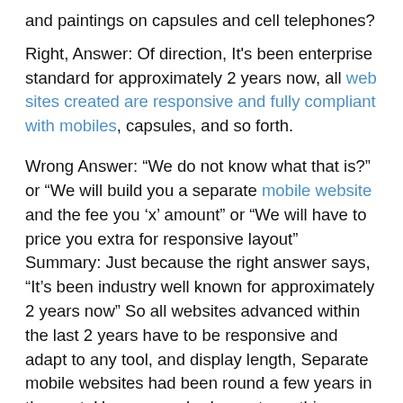and paintings on capsules and cell telephones?
Right, Answer: Of direction, It's been enterprise standard for approximately 2 years now, all web sites created are responsive and fully compliant with mobiles, capsules, and so forth.
Wrong Answer: “We do not know what that is?” or “We will build you a separate mobile website and the fee you ‘x’ amount” or “We will have to price you extra for responsive layout” Summary: Just because the right answer says, “It’s been industry well known for approximately 2 years now” So all websites advanced within the last 2 years have to be responsive and adapt to any tool, and display length, Separate mobile websites had been round a few years in the past. However, nobody must use this previous generation now; It turned to constantly improperly because it detected